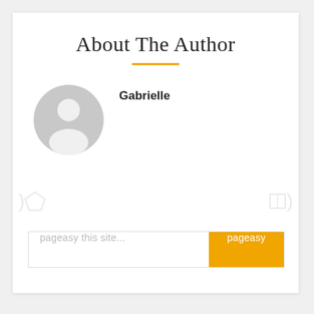About The Author
Gabrielle
[Figure (illustration): Default grey user avatar/profile icon — a circle with a stylized head and shoulders silhouette in grey]
pageasy this site...
pageasy